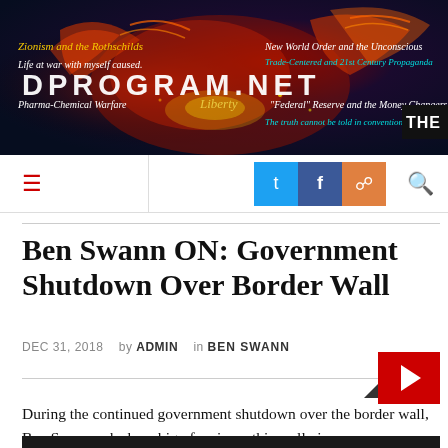[Figure (illustration): Website banner header for dprogramme.net showing a phoenix bird illustration on dark blue/red background with overlaid text including site title DPROGRAM.NET and various topic labels]
DPROGRAM.NET navigation bar with hamburger menu, Twitter, Facebook, RSS icons, and search icon
Ben Swann ON: Government Shutdown Over Border Wall
DEC 31, 2018  by ADMIN  in BEN SWANN
[Figure (other): Video play button on grey bar]
During the continued government shutdown over the border wall, Ben Swann asks how big of an issue this really is.
[Figure (screenshot): Dark video thumbnail preview at bottom of page]